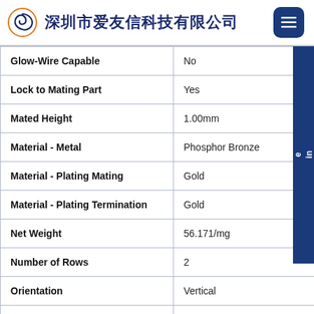深圳市爱友信科技有限公司
| Property | Value |
| --- | --- |
| Glow-Wire Capable | No |
| Lock to Mating Part | Yes |
| Mated Height | 1.00mm |
| Material - Metal | Phosphor Bronze |
| Material - Plating Mating | Gold |
| Material - Plating Termination | Gold |
| Net Weight | 56.171/mg |
| Number of Rows | 2 |
| Orientation | Vertical |